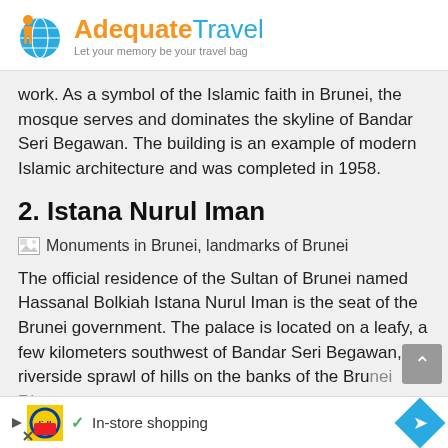AdequateTravel - Let your memory be your travel bag
work. As a symbol of the Islamic faith in Brunei, the mosque serves and dominates the skyline of Bandar Seri Begawan. The building is an example of modern Islamic architecture and was completed in 1958.
2. Istana Nurul Iman
[Figure (photo): Broken image placeholder with alt text: Monuments in Brunei, landmarks of Brunei]
The official residence of the Sultan of Brunei named Hassanal Bolkiah Istana Nurul Iman is the seat of the Brunei government. The palace is located on a leafy, a few kilometers southwest of Bandar Seri Begawan, riverside sprawl of hills on the banks of the Brunei River
In-store shopping (advertisement)